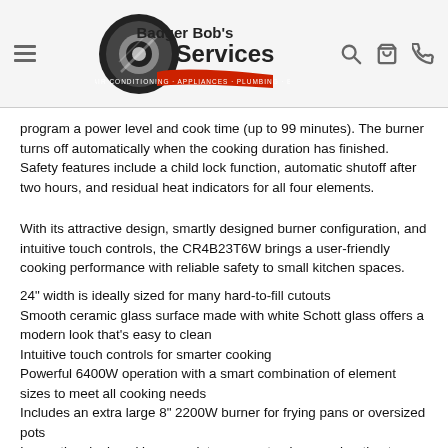Badger Bob's Services — navigation header with logo
program a power level and cook time (up to 99 minutes). The burner turns off automatically when the cooking duration has finished. Safety features include a child lock function, automatic shutoff after two hours, and residual heat indicators for all four elements.
With its attractive design, smartly designed burner configuration, and intuitive touch controls, the CR4B23T6W brings a user-friendly cooking performance with reliable safety to small kitchen spaces.
24" width is ideally sized for many hard-to-fill cutouts
Smooth ceramic glass surface made with white Schott glass offers a modern look that's easy to clean
Intuitive touch controls for smarter cooking
Powerful 6400W operation with a smart combination of element sizes to meet all cooking needs
Includes an extra large 8" 2200W burner for frying pans or oversized pots
Innovative dual cooking zone lets you customize your heating to accommodate large or small cookware